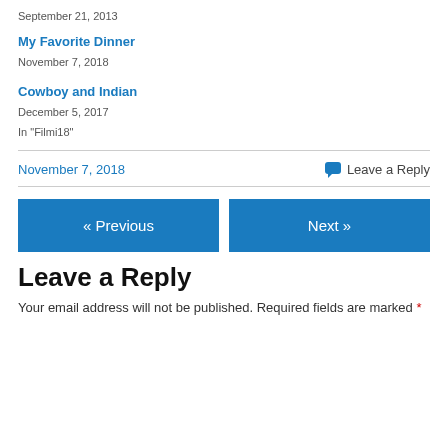September 21, 2013
My Favorite Dinner
November 7, 2018
Cowboy and Indian
December 5, 2017
In "Filmi18"
November 7, 2018 | Leave a Reply
« Previous | Next »
Leave a Reply
Your email address will not be published. Required fields are marked *